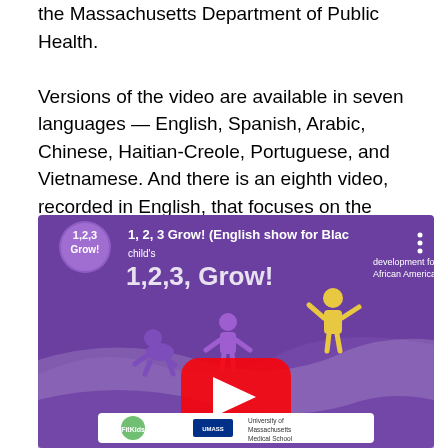the Massachusetts Department of Public Health.

Versions of the video are available in seven languages — English, Spanish, Arabic, Chinese, Haitian-Creole, Portuguese, and Vietnamese. And there is an eighth video, recorded in English, that focuses on the concerns of African-American families.
[Figure (screenshot): YouTube video thumbnail for '1, 2, 3 Grow! (English show for Black and African American families)' showing a purple background with animated child figures at different stages of growth, a YouTube play button in the center, the '1,2,3 Grow!' logo in the top left, and logos for UMass Medical School at the bottom.]